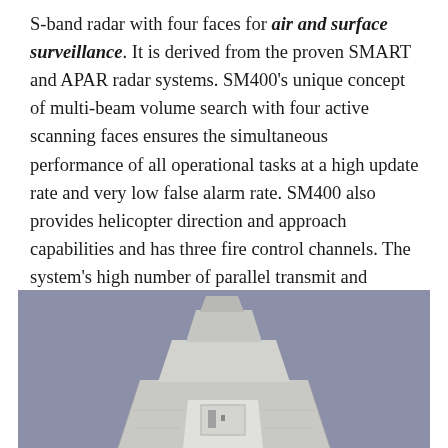S-band radar with four faces for air and surface surveillance. It is derived from the proven SMART and APAR radar systems. SM400's unique concept of multi-beam volume search with four active scanning faces ensures the simultaneous performance of all operational tasks at a high update rate and very low false alarm rate. SM400 also provides helicopter direction and approach capabilities and has three fire control channels. The system's high number of parallel transmit and receive channels provide a high degree of redundancy.
[Figure (photo): Photograph of the SM400 radar system unit, showing a white/light grey multi-faceted radar antenna structure against a grey-blue background.]